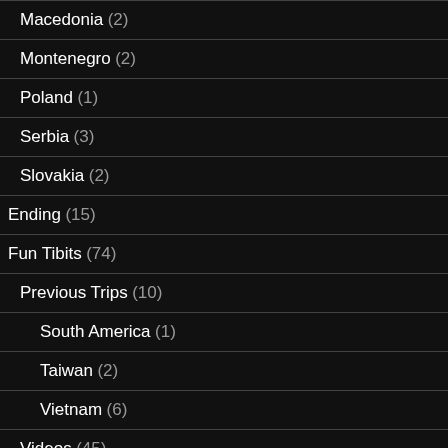Macedonia (2)
Montenegro (2)
Poland (1)
Serbia (3)
Slovakia (2)
Ending (15)
Fun Tibits (74)
Previous Trips (10)
South America (1)
Taiwan (2)
Vietnam (6)
Videos (45)
Galleries (3)